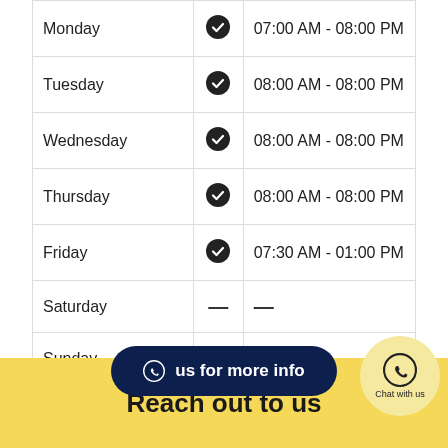| Day | Open | Hours |
| --- | --- | --- |
| Monday | ✔ | 07:00 AM - 08:00 PM |
| Tuesday | ✔ | 08:00 AM - 08:00 PM |
| Wednesday | ✔ | 08:00 AM - 08:00 PM |
| Thursday | ✔ | 08:00 AM - 08:00 PM |
| Friday | ✔ | 07:30 AM - 01:00 PM |
| Saturday | — | — |
| Sunday | — | — |
us for more info
Chat with us
Reach out to us